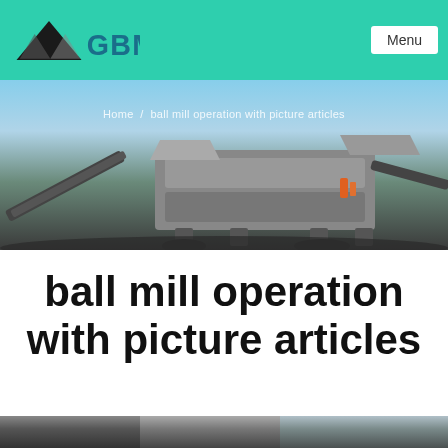GBM — Menu
[Figure (screenshot): Hero image of a large mobile crushing/screening machine on a job site with blue sky background. Breadcrumb text reads: Home / ball mill operation with picture articles]
Home / ball mill operation with picture articles
ball mill operation with picture articles
[Figure (photo): Bottom strip showing partial photos of ball mill equipment]